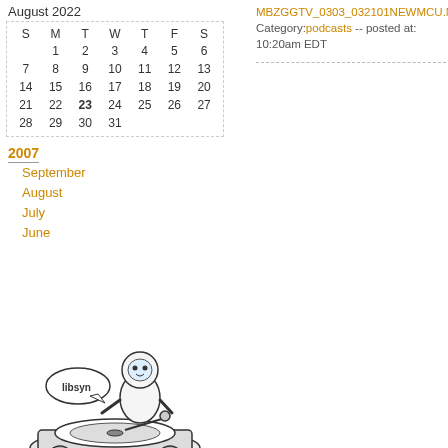August 2022
| S | M | T | W | T | F | S |
| --- | --- | --- | --- | --- | --- | --- |
|  | 1 | 2 | 3 | 4 | 5 | 6 |
| 7 | 8 | 9 | 10 | 11 | 12 | 13 |
| 14 | 15 | 16 | 17 | 18 | 19 | 20 |
| 21 | 22 | 23 | 24 | 25 | 26 | 27 |
| 28 | 29 | 30 | 31 |  |  |  |
2007
September
August
July
June
Category:podcasts -- posted at: 10:20am EDT
[Figure (illustration): Libsyn mascot illustration: astronaut/robot character sitting on a turntable/DJ setup with 'libsyn' speech bubble]